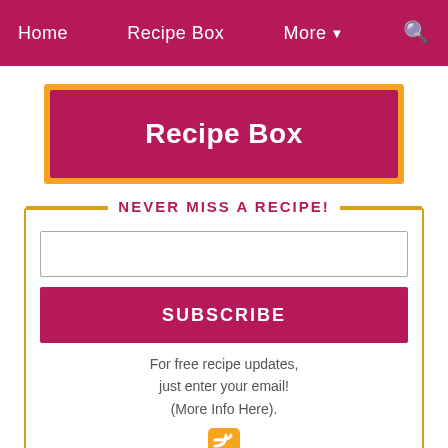Home | Recipe Box | More ▾ | 🔍
Recipe Box
NEVER MISS A RECIPE!
For free recipe updates, just enter your email! (More Info Here).
[Figure (other): RSS feed icon (orange square with white wifi signal symbol)]
625 readers BY FEEDBURNER